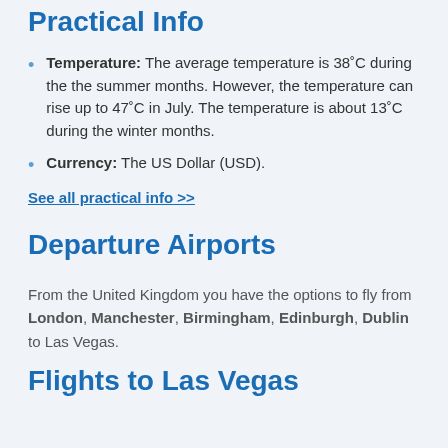Practical Info
Temperature: The average temperature is 38˚C during the the summer months. However, the temperature can rise up to 47˚C in July. The temperature is about 13˚C during the winter months.
Currency: The US Dollar (USD).
See all practical info >>
Departure Airports
From the United Kingdom you have the options to fly from London, Manchester, Birmingham, Edinburgh, Dublin to Las Vegas.
Flights to Las Vegas